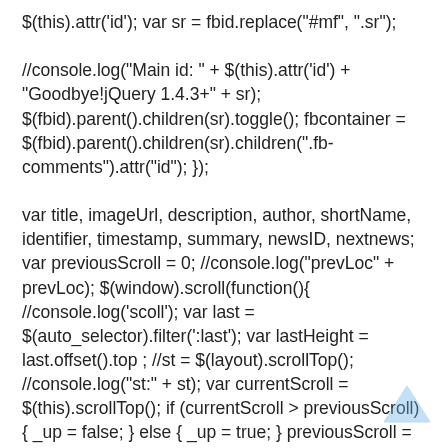$(this).attr('id'); var sr = fbid.replace("#mf", ".sr");

//console.log("Main id: " + $(this).attr('id') + "Goodbye!jQuery 1.4.3+" + sr); $(fbid).parent().children(sr).toggle(); fbcontainer = $(fbid).parent().children(sr).children(".fb-comments").attr("id"); });

var title, imageUrl, description, author, shortName, identifier, timestamp, summary, newsID, nextnews; var previousScroll = 0; //console.log("prevLoc" + prevLoc); $(window).scroll(function(){ //console.log('scoll'); var last = $(auto_selector).filter(':last'); var lastHeight = last.offset().top ; //st = $(layout).scrollTop(); //console.log("st:" + st); var currentScroll = $(this).scrollTop(); if (currentScroll > previousScroll) { _up = false; } else { _up = true; } previousScroll = currentScroll; //console.log(" _up" + _up);